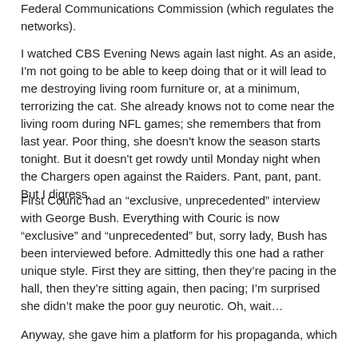Federal Communications Commission (which regulates the networks).
I watched CBS Evening News again last night. As an aside, I'm not going to be able to keep doing that or it will lead to me destroying living room furniture or, at a minimum, terrorizing the cat. She already knows not to come near the living room during NFL games; she remembers that from last year. Poor thing, she doesn't know the season starts tonight. But it doesn't get rowdy until Monday night when the Chargers open against the Raiders. Pant, pant, pant. But I digress.
First Couric had an “exclusive, unprecedented” interview with George Bush. Everything with Couric is now “exclusive” and “unprecedented” but, sorry lady, Bush has been interviewed before. Admittedly this one had a rather unique style. First they are sitting, then they’re pacing in the hall, then they’re sitting again, then pacing; I’m surprised she didn’t make the poor guy neurotic. Oh, wait…
Anyway, she gave him a platform for his propaganda, which